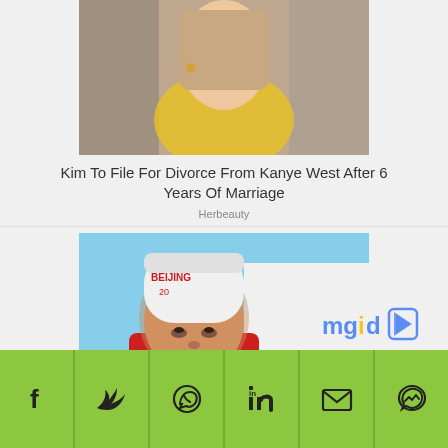[Figure (photo): Woman with long hair wearing yellow top, in front of clothing rack]
Kim To File For Divorce From Kanye West After 6 Years Of Marriage
Herbeauty
[Figure (photo): Older Asian man wearing Beijing Winter Olympics beanie hat, next to white box with Olympic logo]
They Look Very Young Despite Crossing The 40-Year-Old Threshold
Brainberries
[Figure (logo): mgid logo with arrow play button icon]
[Figure (infographic): Green social sharing bar with Facebook, Twitter, WhatsApp, LinkedIn, Email, and Messenger icons]